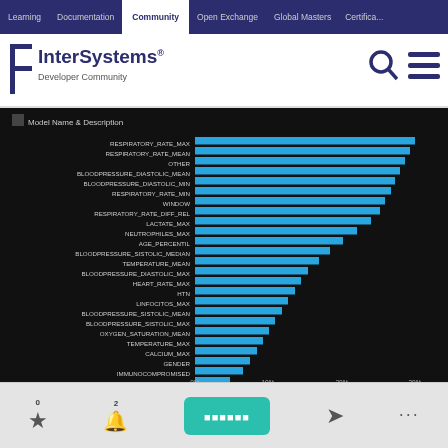Learning | Documentation | Community | Open Exchange | Global Masters | Certification
[Figure (screenshot): InterSystems Developer Community logo with search and menu icons]
[Figure (bar-chart): Model Name & Description]
เราใช้ cookie เพื่อปรับปรุงประสบการณ์ ของคุณ
0  ★  2  🔔  [button]  ➤  ...